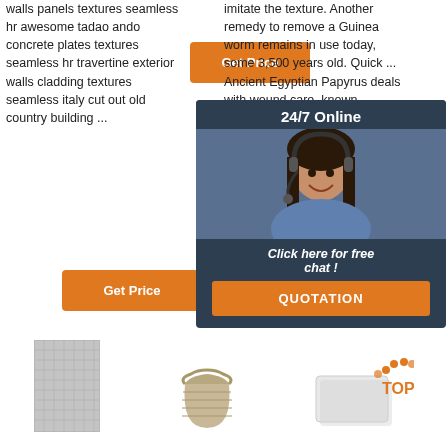walls panels textures seamless hr awesome tadao ando concrete plates textures seamless hr travertine exterior walls cladding textures seamless italy cut out old country building ...
[Figure (other): Orange 'Get Price' button at top center]
imitate the texture. Another remedy to remove a Guinea worm remains in use today, some 3,500 years old. Quick ... Ancient Egyptian Papyrus deals with wound care, known ...
[Figure (other): 24/7 Online chat panel overlay with agent photo, 'Click here for free chat!', and QUOTATION button]
[Figure (other): Orange 'Get Price' button at bottom left]
[Figure (other): Orange 'Get' button at bottom right (partially covered)]
[Figure (photo): Gray textile/tile swatch image]
[Figure (photo): Beige woven basket/planter image]
[Figure (photo): White rectangular object with TOP badge logo]